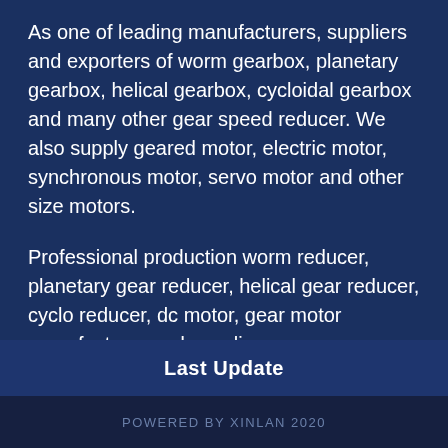As one of leading manufacturers, suppliers and exporters of worm gearbox, planetary gearbox, helical gearbox, cycloidal gearbox and many other gear speed reducer. We also supply geared motor, electric motor, synchronous motor, servo motor and other size motors.
Professional production worm reducer, planetary gear reducer, helical gear reducer, cyclo reducer, dc motor, gear motor manufacturer and suppliers.
Last Update
POWERED BY XINLAN 2020